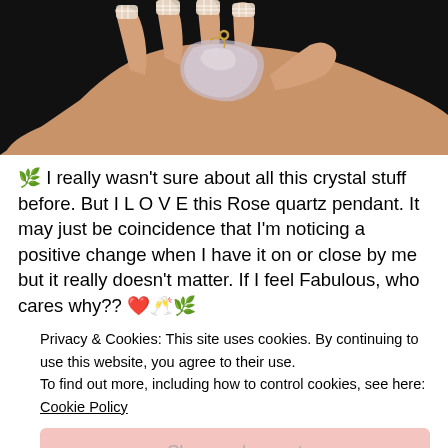[Figure (photo): A hand holding a rose quartz crystal pendant on a gold chain against a dark background. The hand has white grid-patterned nail art on manicured nails.]
🌿 I really wasn't sure about all this crystal stuff before. But I L O V E this Rose quartz pendant. It may just be coincidence that I'm noticing a positive change when I have it on or close by me but it really doesn't matter. If I feel Fabulous, who cares why?? ❤️🥂🌿
Privacy & Cookies: This site uses cookies. By continuing to use this website, you agree to their use.
To find out more, including how to control cookies, see here:
Cookie Policy
Close and accept
emotionalwellbeing, energy, family, food, healer, healing, Health